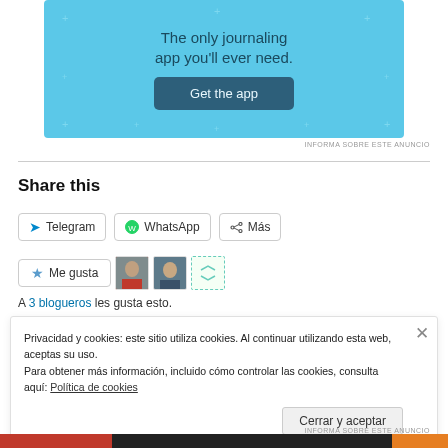[Figure (screenshot): App advertisement banner with light blue background reading 'The only journaling app you'll ever need.' with a dark 'Get the app' button]
Share this
[Figure (screenshot): Share buttons: Telegram, WhatsApp, Más]
[Figure (screenshot): Me gusta (Like) button with star icon, followed by three avatar thumbnails]
A 3 blogueros les gusta esto.
Privacidad y cookies: este sitio utiliza cookies. Al continuar utilizando esta web, aceptas su uso.
Para obtener más información, incluido cómo controlar las cookies, consulta aquí: Política de cookies
Cerrar y aceptar